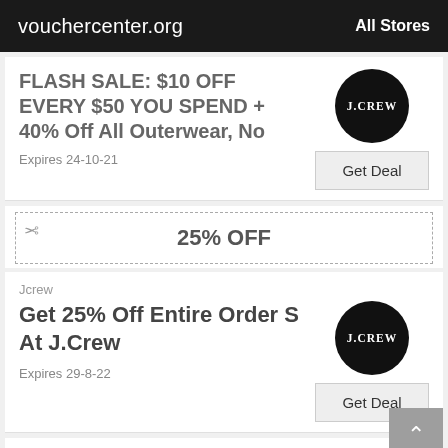vouchercenter.org  All Stores
FLASH SALE: $10 OFF EVERY $50 YOU SPEND + 40% Off All Outerwear, No
Expires 24-10-21
[Figure (logo): J.CREW logo black circle]
Get Deal
[Figure (other): Coupon scissors dashed border box with 25% OFF text]
25% OFF
Jcrew
Get 25% Off Entire Order S At J.Crew
Expires 29-8-22
[Figure (logo): J.CREW logo black circle]
Get Deal